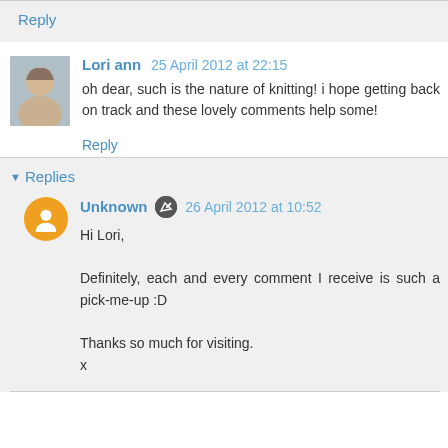Reply
Lori ann  25 April 2012 at 22:15
oh dear, such is the nature of knitting! i hope getting back on track and these lovely comments help some!
Reply
▼ Replies
Unknown  26 April 2012 at 10:52
Hi Lori,

Definitely, each and every comment I receive is such a pick-me-up :D

Thanks so much for visiting.
x